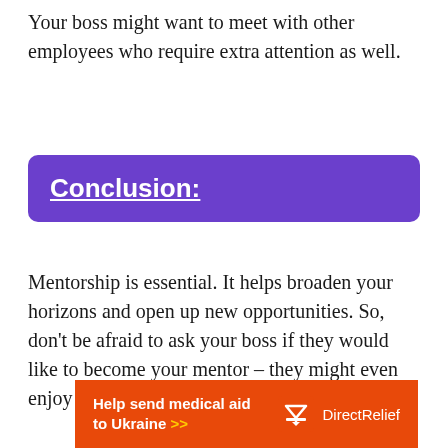Your boss might want to meet with other employees who require extra attention as well.
Conclusion:
Mentorship is essential. It helps broaden your horizons and open up new opportunities. So, don’t be afraid to ask your boss if they would like to become your mentor – they might even enjoy it.
[Figure (infographic): Orange advertisement banner reading 'Help send medical aid to Ukraine >>' with Direct Relief logo on the right.]